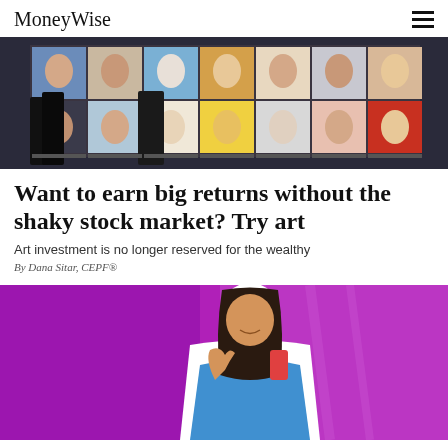MoneyWise
[Figure (photo): Art gallery wall filled with colorful pop-art style portrait paintings; visitors silhouetted in foreground]
Want to earn big returns without the shaky stock market? Try art
Art investment is no longer reserved for the wealthy
By Dana Sitar, CEPF®
[Figure (photo): Woman in blue top smiling and looking at her phone, pumping fist, against a purple/magenta background]